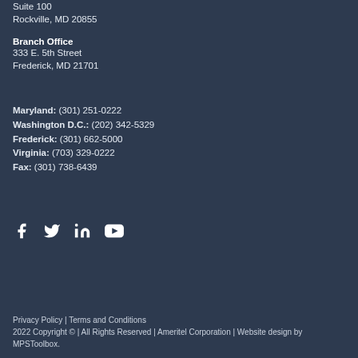Suite 100
Rockville, MD 20855
Branch Office
333 E. 5th Street
Frederick, MD 21701
Maryland: (301) 251-0222
Washington D.C.: (202) 342-5329
Frederick: (301) 662-5000
Virginia: (703) 329-0222
Fax: (301) 738-6439
[Figure (illustration): Social media icons: Facebook, Twitter, LinkedIn, YouTube]
Privacy Policy | Terms and Conditions
2022 Copyright © | All Rights Reserved | Ameritel Corporation | Website design by MPSToolbox.